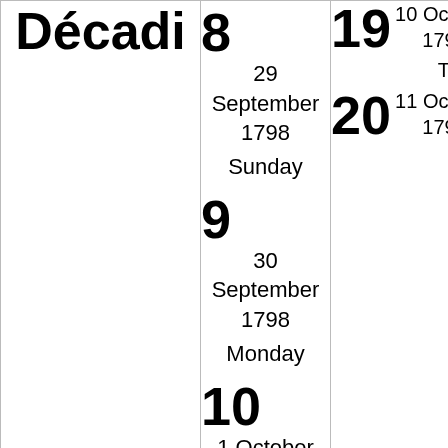| Décadi | 8
29 September 1798
Sunday
9
30 September 1798
Monday
10
1 October 1798 | 19
10 October 1798
Thursday
20
11 October 1798 | 29
30 |
| 8 | Vendémiai… |  |  |
|  | décade |  |  |